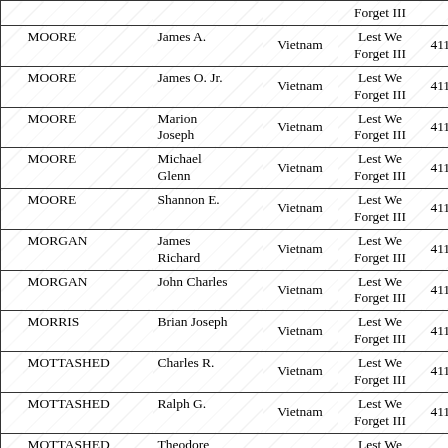|  | Last Name | First Name | Conflict | Book | Page |
| --- | --- | --- | --- | --- | --- |
|  |  |  |  | Forget III |  |
|  | MOORE | James A. | Vietnam | Lest We Forget III | 411 |
|  | MOORE | James O. Jr. | Vietnam | Lest We Forget III | 411 |
|  | MOORE | Marion Joseph | Vietnam | Lest We Forget III | 411 |
|  | MOORE | Michael Glenn | Vietnam | Lest We Forget III | 411 |
|  | MOORE | Shannon E. | Vietnam | Lest We Forget III | 411 |
|  | MORGAN | James Richard | Vietnam | Lest We Forget III | 411 |
|  | MORGAN | John Charles | Vietnam | Lest We Forget III | 411 |
|  | MORRIS | Brian Joseph | Vietnam | Lest We Forget III | 411 |
|  | MOTTASHED | Charles R. | Vietnam | Lest We Forget III | 411 |
|  | MOTTASHED | Ralph G. | Vietnam | Lest We Forget III | 411 |
|  | MOTTASHED | Theodore | Vietnam | Lest We Forget III | 411 |
|  | MOUNT | Victor | Vietnam | Lest We Forget III | 411 |